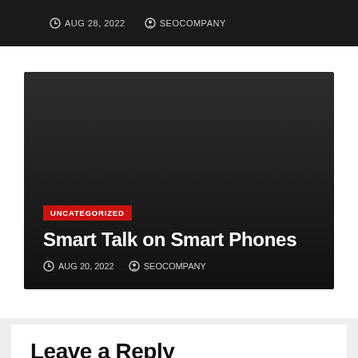AUG 28, 2022  SEOCOMPANY
[Figure (screenshot): Dark card with UNCATEGORIZED red tag, title 'Smart Talk on Smart Phones', and meta info AUG 20, 2022 / SEOCOMPANY]
UNCATEGORIZED
Smart Talk on Smart Phones
AUG 20, 2022  SEOCOMPANY
Leave a Reply